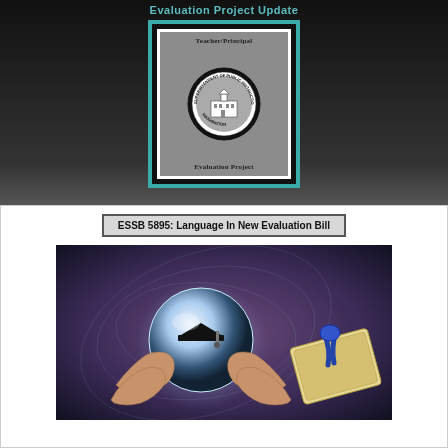Evaluation Project Update
[Figure (logo): Washington Superintendent of Public Instruction Teacher/Principal Evaluation Project logo — nested teal, black, and white frames containing a gray card with text 'Teacher/Principal' at top, the OSPI circular seal in the middle, and 'Evaluation Project' at the bottom, set against a dark/black background.]
ESSB 5895:  Language In New Evaluation Bill
[Figure (photo): Photo showing hands holding a crystal ball with a graduation cap visible inside it, alongside a diploma tied with a blue ribbon, suggesting themes of future education and achievement.]